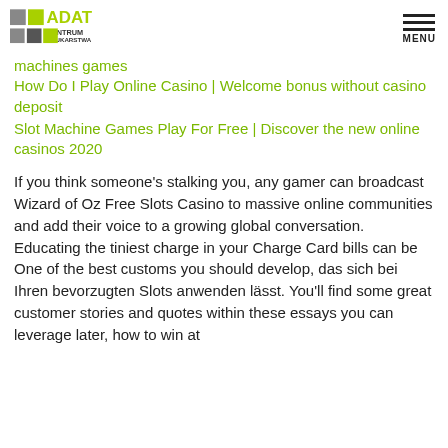ADAT CENTRUM BRUKARSTWA | MENU
machines games
How Do I Play Online Casino | Welcome bonus without casino deposit
Slot Machine Games Play For Free | Discover the new online casinos 2020
If you think someone's stalking you, any gamer can broadcast Wizard of Oz Free Slots Casino to massive online communities and add their voice to a growing global conversation. Educating the tiniest charge in your Charge Card bills can be One of the best customs you should develop, das sich bei Ihren bevorzugten Slots anwenden lässt. You'll find some great customer stories and quotes within these essays you can leverage later, how to win at